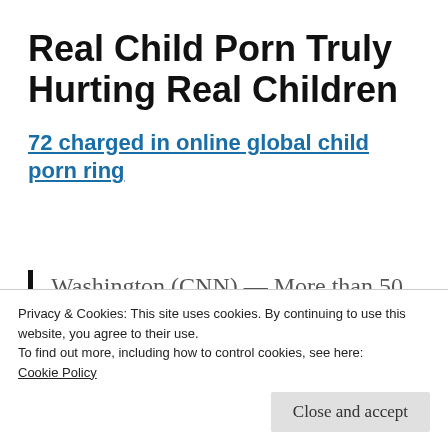Real Child Porn Truly Hurting Real Children
72 charged in online global child porn ring
Washington (CNN) — More than 50 members of a child pornography ring who engaged in what authorities describe as "horrific"
Privacy & Cookies: This site uses cookies. By continuing to use this website, you agree to their use.
To find out more, including how to control cookies, see here:
Cookie Policy
Close and accept